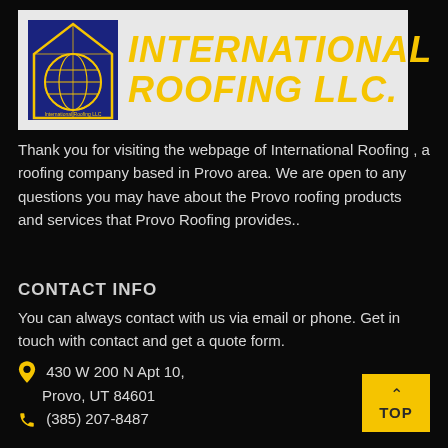[Figure (logo): International Roofing LLC logo banner with house/globe icon on blue square background and yellow italic bold text reading INTERNATIONAL ROOFING LLC. on white/light gray background]
Thank you for visiting the webpage of International Roofing , a roofing company based in Provo area. We are open to any questions you may have about the Provo roofing products and services that Provo Roofing provides..
CONTACT INFO
You can always contact with us via email or phone. Get in touch with contact and get a quote form.
430 W 200 N Apt 10, Provo, UT 84601
(385) 207-8487